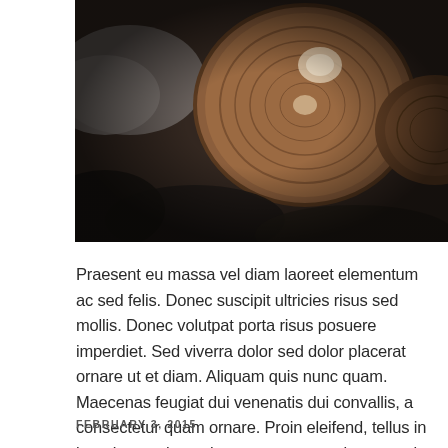[Figure (photo): Close-up photo of wooden log cross-sections and mushrooms on a textured burlap background, with warm brown and dark tones.]
Praesent eu massa vel diam laoreet elementum ac sed felis. Donec suscipit ultricies risus sed mollis. Donec volutpat porta risus posuere imperdiet. Sed viverra dolor sed dolor placerat ornare ut et diam. Aliquam quis nunc quam. Maecenas feugiat dui venenatis dui convallis, a consectetur quam ornare. Proin eleifend, tellus in interdum malesuada, eros purus mattis augue, in auctor nunc ligula vel metus. Duis congue, lacus quis viverra egestas, felis elit imperdiet lorem, quis consectetur odio libero vitae sapien.
FEBRUARY 3, 2015